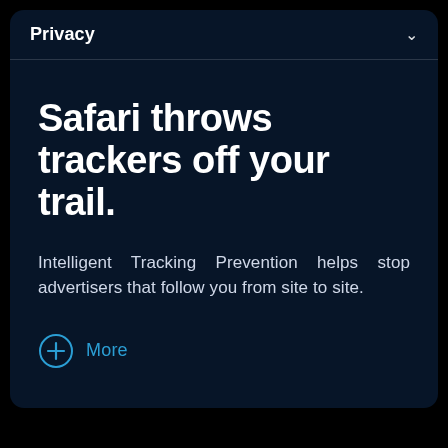Privacy
Safari throws trackers off your trail.
Intelligent Tracking Prevention helps stop advertisers that follow you from site to site.
More